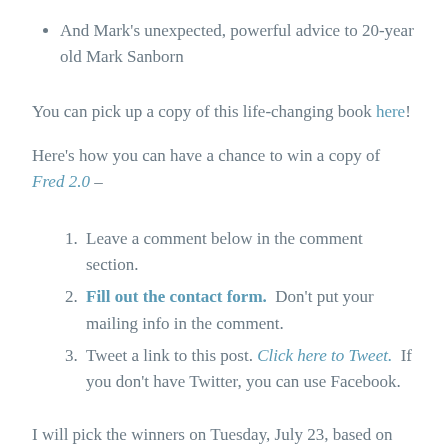And Mark's unexpected, powerful advice to 20-year old Mark Sanborn
You can pick up a copy of this life-changing book here!
Here's how you can have a chance to win a copy of Fred 2.0 –
Leave a comment below in the comment section.
Fill out the contact form.  Don't put your mailing info in the comment.
Tweet a link to this post. Click here to Tweet.  If you don't have Twitter, you can use Facebook.
I will pick the winners on Tuesday, July 23, based on your